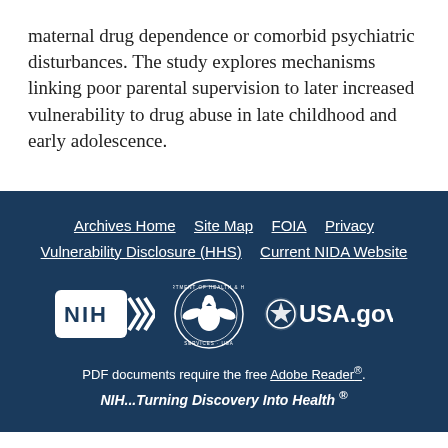maternal drug dependence or comorbid psychiatric disturbances. The study explores mechanisms linking poor parental supervision to later increased vulnerability to drug abuse in late childhood and early adolescence.
Archives Home  Site Map  FOIA  Privacy  Vulnerability Disclosure (HHS)  Current NIDA Website
[Figure (logo): NIH logo, HHS eagle seal, and USA.gov logo displayed in a row on dark blue background]
PDF documents require the free Adobe Reader®. NIH...Turning Discovery Into Health ®